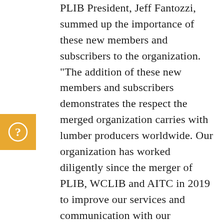[Figure (other): Orange square icon with a white question mark circle symbol]
PLIB President, Jeff Fantozzi, summed up the importance of these new members and subscribers to the organization. “The addition of these new members and subscribers demonstrates the respect the merged organization carries with lumber producers worldwide. Our organization has worked diligently since the merger of PLIB, WCLIB and AITC in 2019 to improve our services and communication with our members and we are beginning to see the fruits of our staffs’ efforts. On behalf of the PLIB